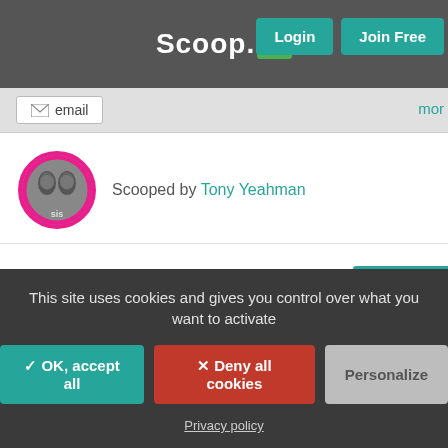Scoop.it! — Login  Join Free
email  mor
Scooped by Tony Yeahman
Members Of The United Methodist Church Votes To Leave Amid Homosexuality Issues
Scoop.it
This site uses cookies and gives you control over what you want to activate
✓ OK, accept all   ✕ Deny all cookies   Personalize
Privacy policy